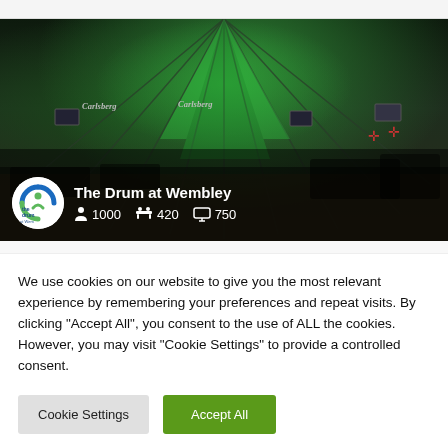[Figure (photo): Interior photo of The Drum at Wembley venue — large event space with green-lit domed ceiling, Carlsberg banners, screens, and furniture. Venue logo, name, and capacity stats overlaid at bottom.]
We use cookies on our website to give you the most relevant experience by remembering your preferences and repeat visits. By clicking "Accept All", you consent to the use of ALL the cookies. However, you may visit "Cookie Settings" to provide a controlled consent.